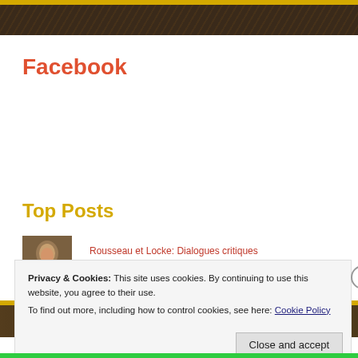Facebook
[Figure (illustration): Brown decorative banner with painting detail, mid-page divider]
Top Posts
[Figure (photo): Small portrait thumbnail of a man, possibly Rousseau]
Rousseau et Locke: Dialogues critiques
Privacy & Cookies: This site uses cookies. By continuing to use this website, you agree to their use.
To find out more, including how to control cookies, see here: Cookie Policy
Close and accept